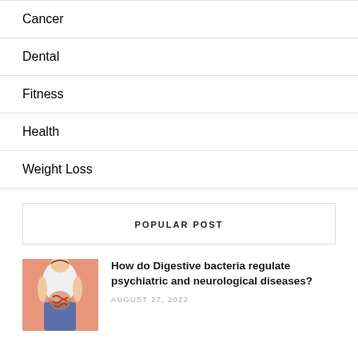Cancer
Dental
Fitness
Health
Weight Loss
POPULAR POST
[Figure (photo): Person showing abdomen with digestive system illustration overlay, pink background]
How do Digestive bacteria regulate psychiatric and neurological diseases?
AUGUST 27, 2022